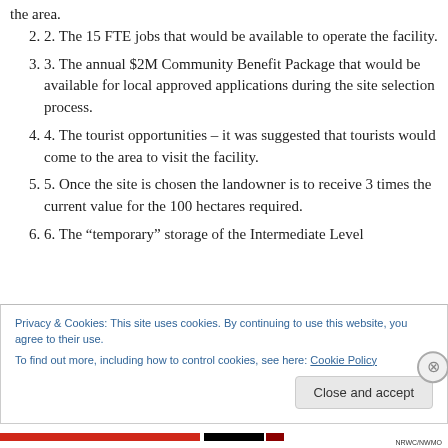the area.
2. The 15 FTE jobs that would be available to operate the facility.
3. The annual $2M Community Benefit Package that would be available for local approved applications during the site selection process.
4. The tourist opportunities – it was suggested that tourists would come to the area to visit the facility.
5. Once the site is chosen the landowner is to receive 3 times the current value for the 100 hectares required.
6. The “temporary” storage of the Intermediate Level
Privacy & Cookies: This site uses cookies. By continuing to use this website, you agree to their use.
To find out more, including how to control cookies, see here: Cookie Policy
Close and accept